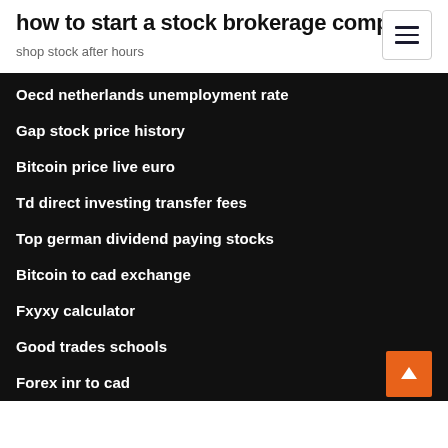how to start a stock brokerage company
shop stock after hours
Oecd netherlands unemployment rate
Gap stock price history
Bitcoin price live euro
Td direct investing transfer fees
Top german dividend paying stocks
Bitcoin to cad exchange
Fxyxy calculator
Good trades schools
Forex inr to cad